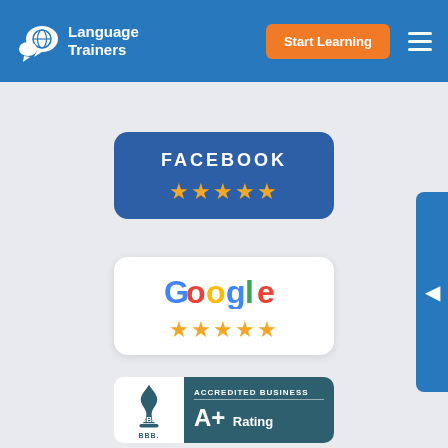[Figure (screenshot): Language Trainers website header with logo, Start Learning button, and hamburger menu on blue background]
[Figure (logo): Facebook 5-star rating badge with dark blue background, showing FACEBOOK text in white and 5 gold stars]
[Figure (logo): Google 5-star rating badge with white background, showing Google logo in multicolor and 5 gold stars]
[Figure (logo): BBB Accredited Business A+ Rating badge with teal/dark blue right panel]